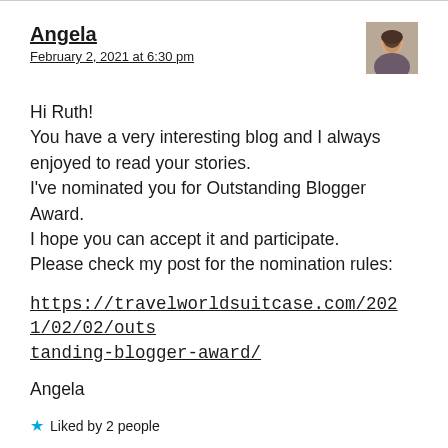Angela
February 2, 2021 at 6:30 pm
[Figure (photo): Small avatar photo of Angela, a woman with dark hair]
Hi Ruth!
You have a very interesting blog and I always enjoyed to read your stories.
I've nominated you for Outstanding Blogger Award.
I hope you can accept it and participate.
Please check my post for the nomination rules:
https://travelworldsuitcase.com/2021/02/02/outstanding-blogger-award/
Angela
Liked by 2 people